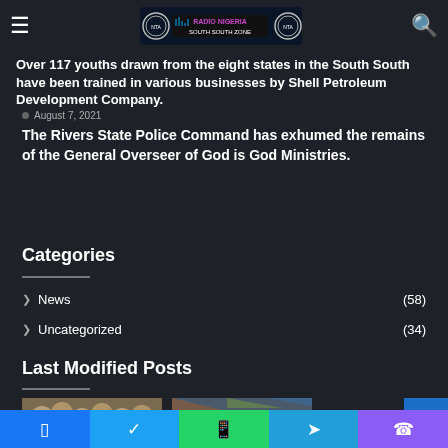Radio Nigeria South South Zone
Over 117 youths drawn from the eight states in the South South have been trained in various businesses by Shell Petroleum Development Company.
August 7, 2021
The Rivers State Police Command has exhumed the remains of the General Overseer of God is God Ministries.
Categories
News (58)
Uncategorized (34)
Last Modified Posts
[Figure (photo): Thumbnail of beans/food items]
[Figure (photo): Thumbnail of a market/street scene]